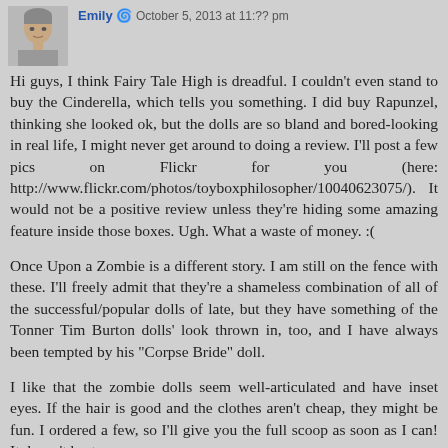[Figure (photo): Small avatar photo of a doll or mannequin head with short hair]
Emily [icon] October 5, 2013 at 11:??
Hi guys, I think Fairy Tale High is dreadful. I couldn't even stand to buy the Cinderella, which tells you something. I did buy Rapunzel, thinking she looked ok, but the dolls are so bland and bored-looking in real life, I might never get around to doing a review. I'll post a few pics on Flickr for you (here: http://www.flickr.com/photos/toyboxphilosopher/10040623075/). It would not be a positive review unless they're hiding some amazing feature inside those boxes. Ugh. What a waste of money. :(
Once Upon a Zombie is a different story. I am still on the fence with these. I'll freely admit that they're a shameless combination of all of the successful/popular dolls of late, but they have something of the Tonner Tim Burton dolls' look thrown in, too, and I have always been tempted by his "Corpse Bride" doll.
I like that the zombie dolls seem well-articulated and have inset eyes. If the hair is good and the clothes aren't cheap, they might be fun. I ordered a few, so I'll give you the full scoop as soon as I can! It doesn't hurt